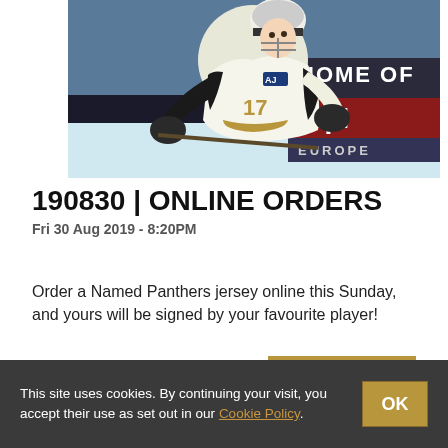[Figure (photo): Ice hockey player wearing a black, white, and gold Panthers jersey with number 17, in action on the ice. Background shows arena boards with text 'HOME OF' and 'w.pl EUROPE'.]
190830 | ONLINE ORDERS
Fri 30 Aug 2019 - 8:20PM
Order a Named Panthers jersey online this Sunday, and yours will be signed by your favourite player!
READ MORE
This site uses cookies. By continuing your visit, you accept their use as set out in our Cookie Policy.